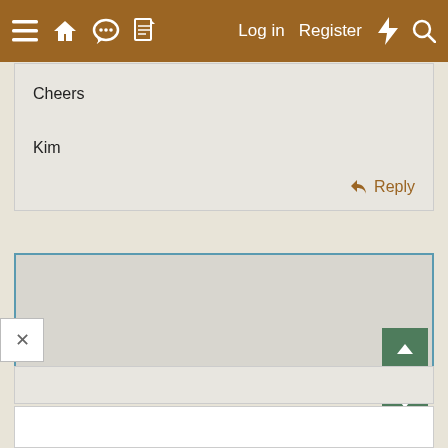☰ 🏠 💬 📄  Log in  Register ⚡ 🔍
Cheers

Kim
↩ Reply
[Figure (screenshot): Empty text editor area with light gray background and teal/blue border]
[Figure (other): Two green navigation buttons with up and down arrows]
[Figure (other): Close button (X) in white box at bottom left]